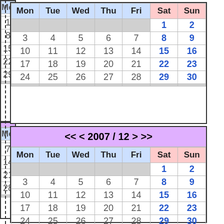| Mon | Tue | Wed | Thu | Fri | Sat | Sun |
| --- | --- | --- | --- | --- | --- | --- |
|  |  |  |  |  | 1 | 2 |
| 3 | 4 | 5 | 6 | 7 | 8 | 9 |
| 10 | 11 | 12 | 13 | 14 | 15 | 16 |
| 17 | 18 | 19 | 20 | 21 | 22 | 23 |
| 24 | 25 | 26 | 27 | 28 | 29 | 30 |
|  |  |  |  |  |  |  |
| << < 2007 / 12 > >> |
| --- |
| Mon | Tue | Wed | Thu | Fri | Sat | Sun |
|  |  |  |  |  | 1 | 2 |
| 3 | 4 | 5 | 6 | 7 | 8 | 9 |
| 10 | 11 | 12 | 13 | 14 | 15 | 16 |
| 17 | 18 | 19 | 20 | 21 | 22 | 23 |
| 24 | 25 | 26 | 27 | 28 | 29 | 30 |
| 31 |  |  |  |  |  |  |